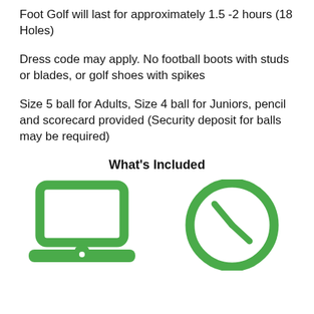Foot Golf will last for approximately 1.5 -2 hours (18 Holes)
Dress code may apply. No football boots with studs or blades, or golf shoes with spikes
Size 5 ball for Adults, Size 4 ball for Juniors, pencil and scorecard provided (Security deposit for balls may be required)
What's Included
[Figure (illustration): Green laptop computer icon and green clock/time icon side by side, representing online booking and time duration included features. Partial text labels visible at bottom.]